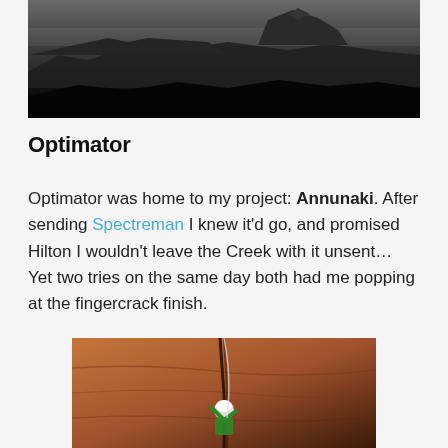[Figure (photo): Black and white landscape photograph of mesas and buttes in a desert canyon, with dramatic sky and water reflections in the background]
Optimator
Optimator was home to my project: Annunaki. After sending Spectreman I knew it'd go, and promised Hilton I wouldn't leave the Creek with it unsent… Yet two tries on the same day both had me popping at the fingercrack finish.
[Figure (photo): Color photograph of a rock climber in a green shirt and white helmet climbing a vertical crack on a red sandstone wall]